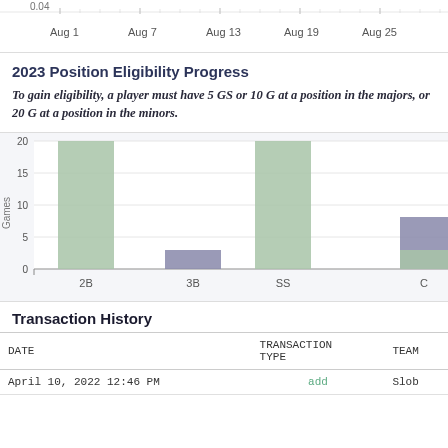[Figure (line-chart): Partial line chart at top of page showing date axis with labels Aug 1, Aug 7, Aug 13, Aug 19, Aug 25]
2023 Position Eligibility Progress
To gain eligibility, a player must have 5 GS or 10 G at a position in the majors, or 20 G at a position in the minors.
[Figure (grouped-bar-chart): Position Eligibility Progress]
Transaction History
| DATE | TRANSACTION TYPE | TEAM |
| --- | --- | --- |
| April 10, 2022 12:46 PM | add | Slob |